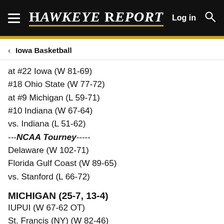Hawkeye Report
Iowa Basketball
at #22 Iowa (W 81-69)
#18 Ohio State (W 77-72)
at #9 Michigan (L 59-71)
#10 Indiana (W 67-64)
vs. Indiana (L 51-62)
---NCAA Tourney-----
Delaware (W 102-71)
Florida Gulf Coast (W 89-65)
vs. Stanford (L 66-72)
MICHIGAN (25-7, 13-4)
IUPUI (W 67-62 OT)
St. Francis (NY) (W 82-46)
Massachusetts-Lowell (W 73-54)
at Central Michigan (W 69-45)